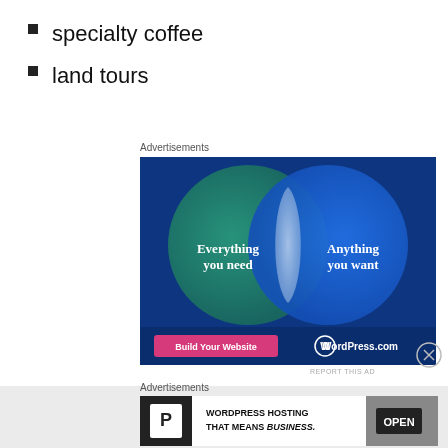specialty coffee
land tours
Advertisements
[Figure (illustration): WordPress.com advertisement showing a Venn diagram with two overlapping circles. Left circle (teal/green) says 'Everything you need', right circle (blue) says 'Anything you want'. Overlapping area is light blue. Bottom has a pink button 'Build Your Website' and WordPress.com logo on dark blue background.]
REPORT THIS AD
Advertisements
[Figure (illustration): WordPress Hosting advertisement with P logo and text 'WORDPRESS HOSTING THAT MEANS BUSINESS.' with an OPEN sign photo on the right.]